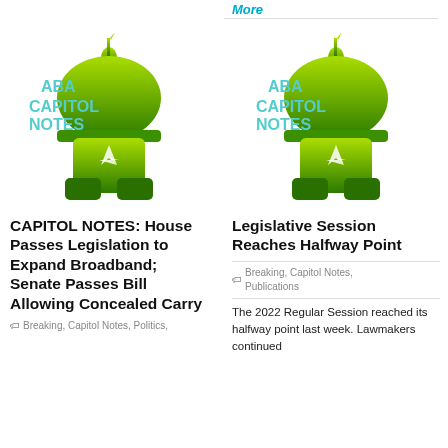More
[Figure (logo): ABA Capitol Notes logo — green figure sitting on dome with ABA Capitol Notes text in teal]
CAPITOL NOTES: House Passes Legislation to Expand Broadband; Senate Passes Bill Allowing Concealed Carry
Breaking, Capitol Notes, Politics,
[Figure (logo): ABA Capitol Notes logo — green figure sitting on dome with ABA Capitol Notes text in teal]
Legislative Session Reaches Halfway Point
Breaking, Capitol Notes, Publications
The 2022 Regular Session reached its halfway point last week. Lawmakers continued